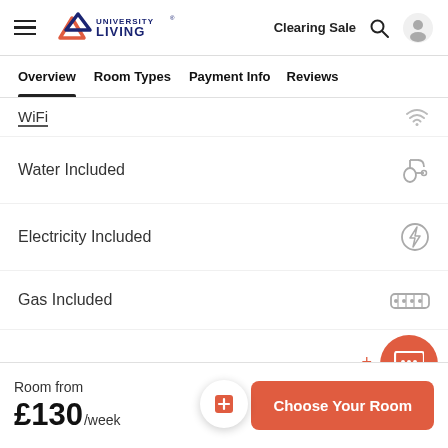University Living — Clearing Sale
Overview | Room Types | Payment Info | Reviews
WiFi
Water Included
Electricity Included
Gas Included
Room from £130/week
Choose Your Room